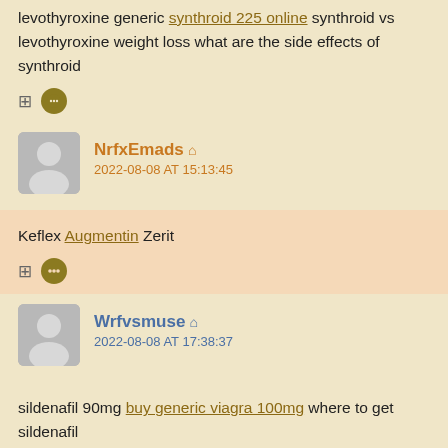levothyroxine generic synthroid 225 online synthroid vs levothyroxine weight loss what are the side effects of synthroid
NrfxEmads
2022-08-08 AT 15:13:45
Keflex Augmentin Zerit
Wrfvsmuse
2022-08-08 AT 17:38:37
sildenafil 90mg buy generic viagra 100mg where to get sildenafil